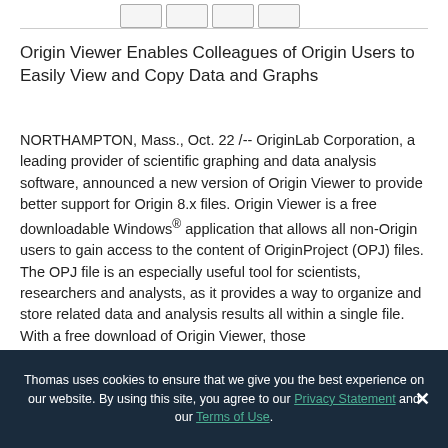Origin Viewer Enables Colleagues of Origin Users to Easily View and Copy Data and Graphs
NORTHAMPTON, Mass., Oct. 22 /-- OriginLab Corporation, a leading provider of scientific graphing and data analysis software, announced a new version of Origin Viewer to provide better support for Origin 8.x files. Origin Viewer is a free downloadable Windows® application that allows all non-Origin users to gain access to the content of OriginProject (OPJ) files. The OPJ file is an especially useful tool for scientists, researchers and analysts, as it provides a way to organize and store related data and analysis results all within a single file. With a free download of Origin Viewer, those
Thomas uses cookies to ensure that we give you the best experience on our website. By using this site, you agree to our Privacy Statement and our Terms of Use.